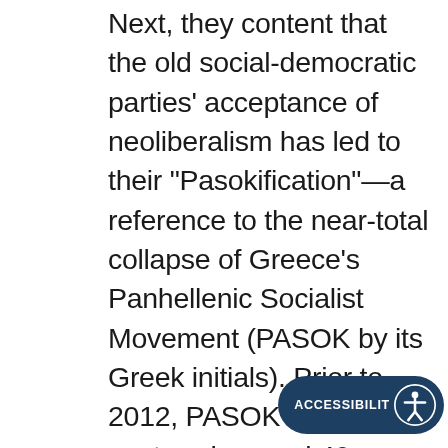Next, they content that the old social-democratic parties' acceptance of neoliberalism has led to their "Pasokification"—a reference to the near-total collapse of Greece's Panhellenic Socialist Movement (PASOK by its Greek initials). Prior to 2012, PASOK regularly captured around 40 percent of the vote in national elections and dominated the country's trade union federations. However, PASOK's decision to enforce Troika-directed austerity in Greece shattered the party's base, reducing it to under 5 percent of the vote in January 2015. This helped set the stage for the rise of SYRIZA, with